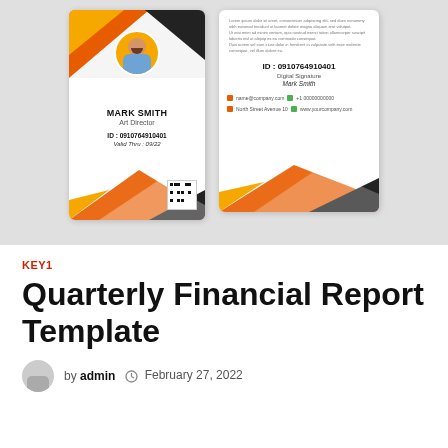[Figure (illustration): Two ID card templates shown side by side on a grey background. Left card (front): shows a photo of Mark Smith with orange/black geometric design, text 'MARK SMITH Art Director ID: 0910764910401 Valid Thru: 09/22' and a QR code. Right card (back): shows back side with lorem ipsum text, 'ID: 0910764910401', 'Digital Signature', 'Mark Smith', contact details, and orange/black geometric design.]
KEY1
Quarterly Financial Report Template
by admin  February 27, 2022